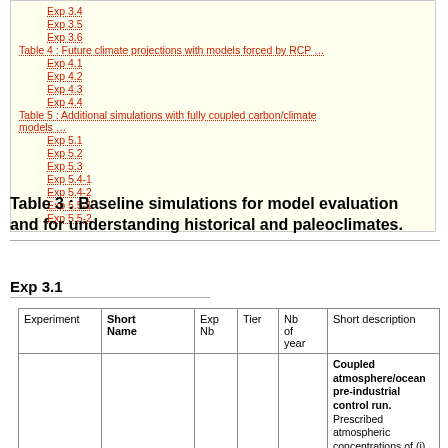Exp 3.4
Exp 3.5
Exp 3.6
Table 4 : Future climate projections with models forced by RCP …
Exp 4.1
Exp 4.2
Exp 4.3
Exp 4.4
Table 5 : Additional simulations with fully coupled carbon/climate models …
Exp 5.1
Exp 5.2
Exp 5.3
Exp 5.4-1
Exp 5.4-2
Exp 5.5-1
Exp 5.5-2
Table 3 : Baseline simulations for model evaluation and for understanding historical and paleoclimates.
Exp 3.1
| Experiment | Short Name | Exp Nb | Tier | Nb of year | Short description |
| --- | --- | --- | --- | --- | --- |
|  |  |  |  |  | Coupled atmosphere/ocean pre-industrial control run. Prescribed atmospheric concentrations of (i) all … |